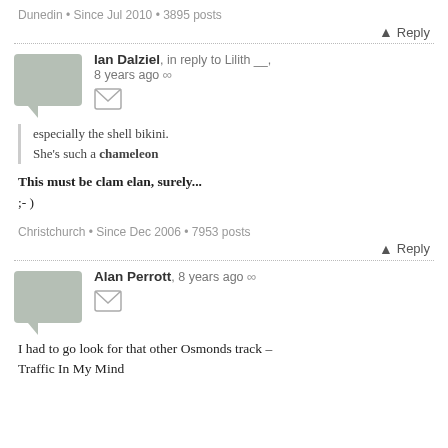Dunedin • Since Jul 2010 • 3895 posts
Reply
Ian Dalziel, in reply to Lilith __, 8 years ago ∞
especially the shell bikini.
She's such a chameleon
This must be clam elan, surely...
;- )
Christchurch • Since Dec 2006 • 7953 posts
Reply
Alan Perrott, 8 years ago ∞
I had to go look for that other Osmonds track –
Traffic In My Mind